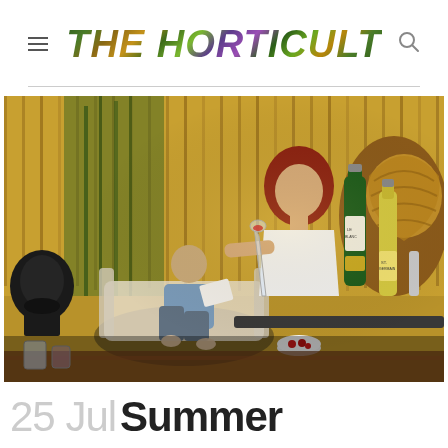THE HORTICULT
[Figure (photo): Outdoor garden patio scene with a woman in a white top holding a champagne flute and cocktail, smiling at camera, and a man relaxing on a sofa reading in the background. A wood slat fence, tropical plants, a hanging egg chair, a black fireplace/heater, and a table with champagne bottles and cocktail ingredients are visible.]
25 Jul Summer